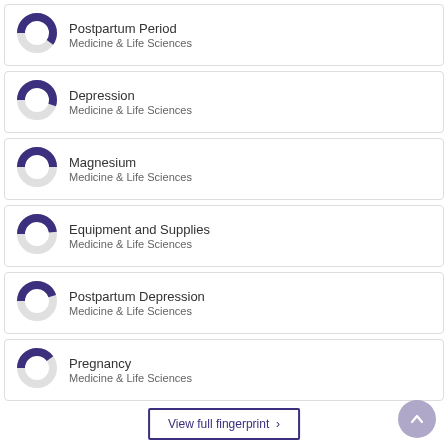[Figure (donut-chart): Donut chart approximately 60% filled purple]
Postpartum Period
Medicine & Life Sciences
[Figure (donut-chart): Donut chart approximately 55% filled purple]
Depression
Medicine & Life Sciences
[Figure (donut-chart): Donut chart approximately 50% filled purple]
Magnesium
Medicine & Life Sciences
[Figure (donut-chart): Donut chart approximately 48% filled purple]
Equipment and Supplies
Medicine & Life Sciences
[Figure (donut-chart): Donut chart approximately 45% filled purple]
Postpartum Depression
Medicine & Life Sciences
[Figure (donut-chart): Donut chart approximately 40% filled purple]
Pregnancy
Medicine & Life Sciences
View full fingerprint ›